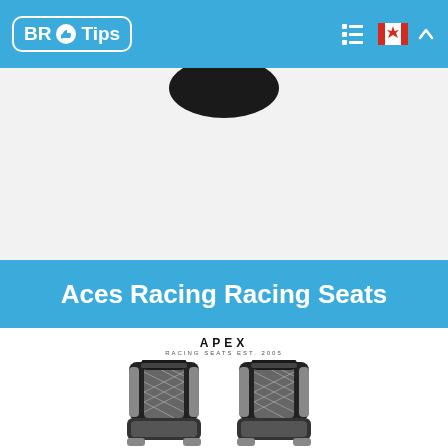BR Tips
[Figure (photo): Partial view of a black product (racing seat or similar) clipped at the top of the page]
Aces Racing Racing Seats
[Figure (photo): Two black and grey APEX brand racing seats shown side by side with diamond-stitch pattern upholstery and grey accent panels]